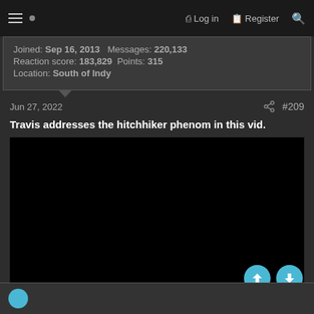≡ • Log in Register 🔍
Joined: Sep 16, 2013  Messages: 220,133  Reaction score: 183,829  Points: 315  Location: South of Indy
Jun 27, 2022  #209
Travis addresses the hitchhiker phenom in this vid.
[Figure (screenshot): Embedded black video player placeholder]